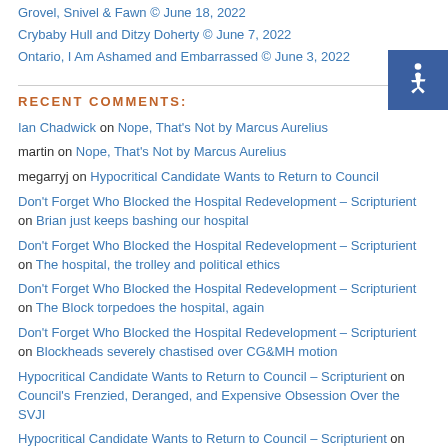Grovel, Snivel & Fawn © June 18, 2022
Crybaby Hull and Ditzy Doherty © June 7, 2022
Ontario, I Am Ashamed and Embarrassed © June 3, 2022
[Figure (illustration): Blue accessibility wheelchair icon on dark blue background]
RECENT COMMENTS:
Ian Chadwick on Nope, That's Not by Marcus Aurelius
martin on Nope, That's Not by Marcus Aurelius
megarryj on Hypocritical Candidate Wants to Return to Council
Don't Forget Who Blocked the Hospital Redevelopment – Scripturient on Brian just keeps bashing our hospital
Don't Forget Who Blocked the Hospital Redevelopment – Scripturient on The hospital, the trolley and political ethics
Don't Forget Who Blocked the Hospital Redevelopment – Scripturient on The Block torpedoes the hospital, again
Don't Forget Who Blocked the Hospital Redevelopment – Scripturient on Blockheads severely chastised over CG&MH motion
Hypocritical Candidate Wants to Return to Council – Scripturient on Council's Frenzied, Deranged, and Expensive Obsession Over the SVJI
Hypocritical Candidate Wants to Return to Council – Scripturient on Striving for Mediocrity